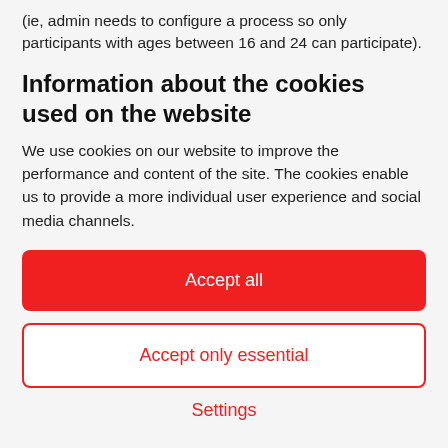(ie, admin needs to configure a process so only participants with ages between 16 and 24 can participate).
Information about the cookies used on the website
We use cookies on our website to improve the performance and content of the site. The cookies enable us to provide a more individual user experience and social media channels.
Accept all
Accept only essential
Settings